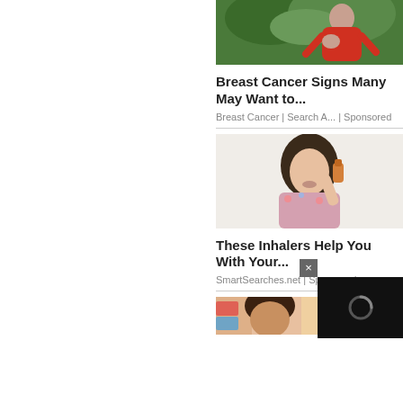[Figure (photo): Woman in red shirt holding her chest in pain, outdoors with green trees in background — breast cancer advertisement image]
Breast Cancer Signs Many May Want to...
Breast Cancer | Search A... | Sponsored
[Figure (photo): Woman using an inhaler, wearing a floral shirt, indoors — inhaler advertisement image]
These Inhalers Help You With Your...
SmartSearches.net | Sponsored
[Figure (photo): Partial view of a man's face with colorful background — bottom advertisement image, partially visible]
[Figure (screenshot): Black loading panel overlay with circular spinner and close button (×)]